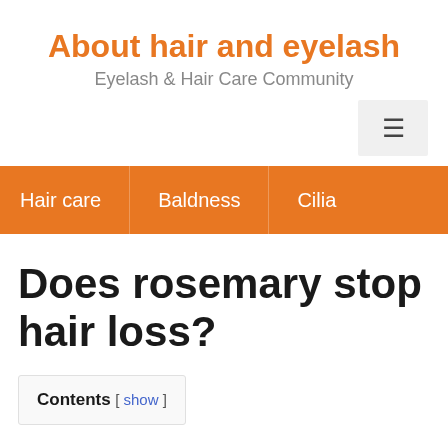About hair and eyelas
Eyelash & Hair Care Community
Hair care | Baldness | Cilia
Does rosemary stop hair loss?
Contents [ show ]